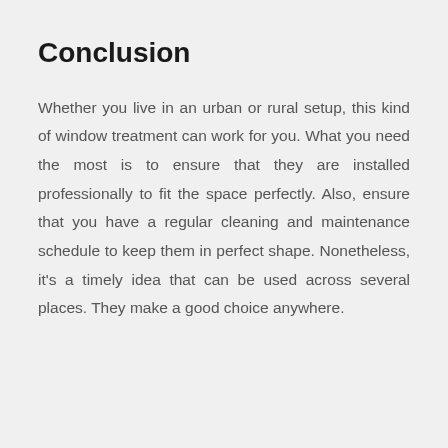Conclusion
Whether you live in an urban or rural setup, this kind of window treatment can work for you. What you need the most is to ensure that they are installed professionally to fit the space perfectly. Also, ensure that you have a regular cleaning and maintenance schedule to keep them in perfect shape. Nonetheless, it's a timely idea that can be used across several places. They make a good choice anywhere.